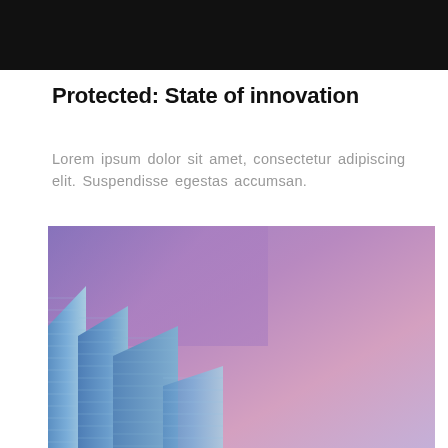Protected: State of innovation
Lorem ipsum dolor sit amet, consectetur adipiscing elit. Suspendisse egestas accumsan.
[Figure (photo): Low-angle view of modern glass skyscrapers rising against a purple and pink gradient sky at dusk]